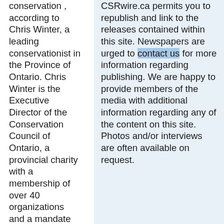conservation , according to Chris Winter, a leading conservationist in the Province of Ontario. Chris Winter is the Executive Director of the Conservation Council of Ontario, a provincial charity with a membership of over 40 organizations and a mandate to promote a united conservation movement across Ontario. His family's monthly ......
CSRwire.ca permits you to republish and link to the releases contained within this site. Newspapers are urged to contact us for more information regarding publishing. We are happy to provide members of the media with additional information regarding any of the content on this site. Photos and/or interviews are often available on request.